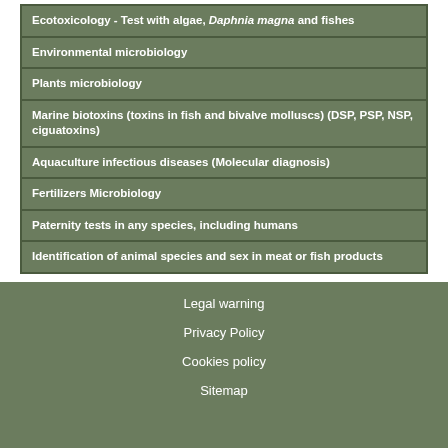Ecotoxicology - Test with algae, Daphnia magna and fishes
Environmental microbiology
Plants microbiology
Marine biotoxins (toxins in fish and bivalve molluscs) (DSP, PSP, NSP, ciguatoxins)
Aquaculture infectious diseases (Molecular diagnosis)
Fertilizers Microbiology
Paternity tests in any species, including humans
Identification of animal species and sex in meat or fish products
Legal warning
Privacy Policy
Cookies policy
Sitemap